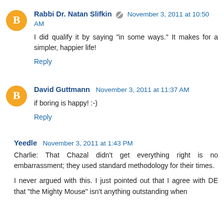Rabbi Dr. Natan Slifkin · November 3, 2011 at 10:50 AM
I did qualify it by saying "in some ways." It makes for a simpler, happier life!
Reply
David Guttmann · November 3, 2011 at 11:37 AM
if boring is happy! :-)
Reply
Yeedle · November 3, 2011 at 1:43 PM
Charlie: That Chazal didn't get everything right is no embarrassment; they used standard methodology for their times.
I never argued with this. I just pointed out that I agree with DE that "the Mighty Mouse" isn't anything outstanding when